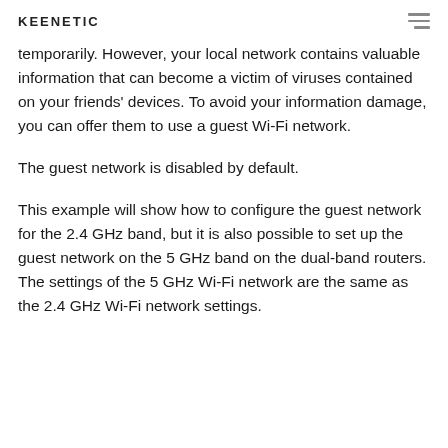KEENETIC
temporarily. However, your local network contains valuable information that can become a victim of viruses contained on your friends' devices. To avoid your information damage, you can offer them to use a guest Wi-Fi network.
The guest network is disabled by default.
This example will show how to configure the guest network for the 2.4 GHz band, but it is also possible to set up the guest network on the 5 GHz band on the dual-band routers. The settings of the 5 GHz Wi-Fi network are the same as the 2.4 GHz Wi-Fi network settings.